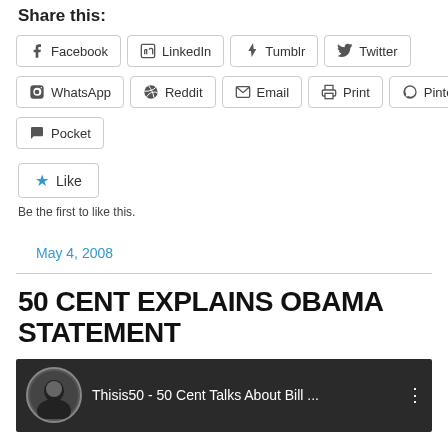Share this:
Facebook  LinkedIn  Tumblr  Twitter  WhatsApp  Reddit  Email  Print  Pinterest  Pocket
Like
Be the first to like this.
May 4, 2008
50 CENT EXPLAINS OBAMA STATEMENT
[Figure (screenshot): Video thumbnail showing 'Thisis50 - 50 Cent Talks About Bill ...' with a circular avatar of 50 Cent on left and three-dot menu on right, dark background]